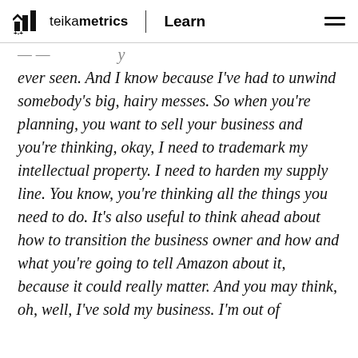teikametrics | Learn
ever seen. And I know because I've had to unwind somebody's big, hairy messes. So when you're planning, you want to sell your business and you're thinking, okay, I need to trademark my intellectual property. I need to harden my supply line. You know, you're thinking all the things you need to do. It's also useful to think ahead about how to transition the business owner and how and what you're going to tell Amazon about it, because it could really matter. And you may think, oh, well, I've sold my business. I'm out of